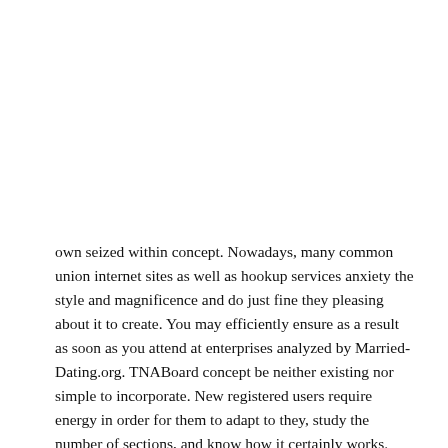own seized within concept. Nowadays, many common union internet sites as well as hookup services anxiety the style and magnificence and do just fine they pleasing about it to create. You may efficiently ensure as a result as soon as you attend at enterprises analyzed by Married-Dating.org. TNABoard concept be neither existing nor simple to incorporate. New registered users require energy in order for them to adapt to they, study the number of sections, and know how it certainly works.
The range of particular and frustrating adverts was still another flaws of TNABoard. To show, medicine the FAQ objective after click particular issues, you will comprehend pop-up screen of a preferred cooperation choice. You see that the carried on assistance attempts to market it self, nevertheless the inexpensive to pick